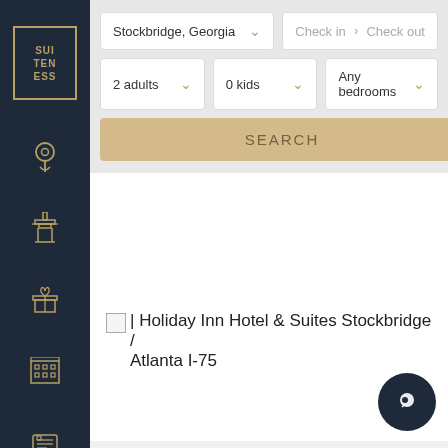[Figure (logo): Suiteness logo in gold border box on dark navy sidebar]
[Figure (illustration): Navigation sidebar icons: location pin, tower/landmark, gift box, building/hotel grid, list/document, user profile]
Stockbridge, Georgia
Check in > Check out
2 adults
0 kids
Any bedrooms
SEARCH
| Holiday Inn Hotel & Suites Stockbridge / Atlanta I-75
[Figure (illustration): Dark circular chat button with speech bubble icon, bottom right]